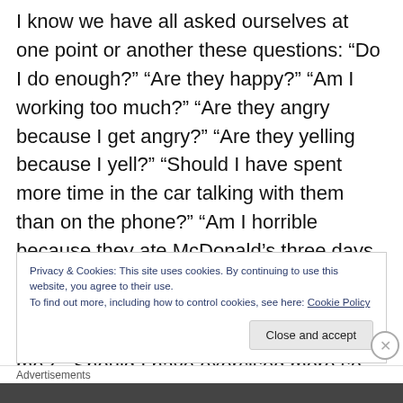I know we have all asked ourselves at one point or another these questions: “Do I do enough?” “Are they happy?” “Am I working too much?” “Are they angry because I get angry?” “Are they yelling because I yell?” “Should I have spent more time in the car talking with them than on the phone?” “Am I horrible because they ate McDonald’s three days this week?” “Are my parenting skills destructive?” “Am I too protective?” “Are they developing abnormally because of me?” “Should I have exercised more so they can be healthier?” “Am I horrible if I don’t have technology? “Why are they so selfish- am I
Privacy & Cookies: This site uses cookies. By continuing to use this website, you agree to their use.
To find out more, including how to control cookies, see here: Cookie Policy
Close and accept
Advertisements